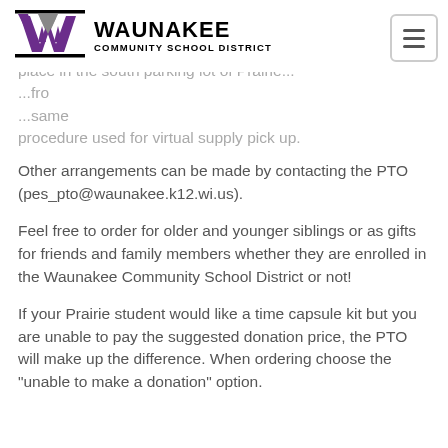[Figure (logo): Waunakee Community School District logo with purple W and text]
place in the south parking lot of Prairie...
Other arrangements can be made by contacting the PTO (pes_pto@waunakee.k12.wi.us).
Feel free to order for older and younger siblings or as gifts for friends and family members whether they are enrolled in the Waunakee Community School District or not!
If your Prairie student would like a time capsule kit but you are unable to pay the suggested donation price, the PTO will make up the difference. When ordering choose the "unable to make a donation" option.